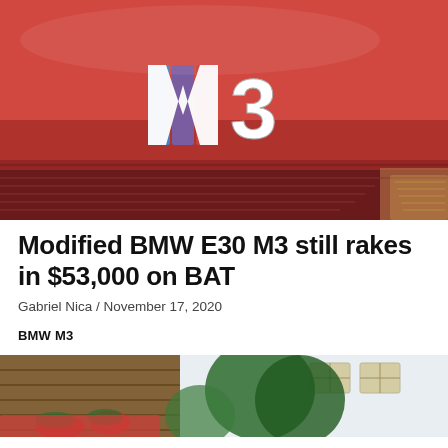[Figure (photo): Close-up of red BMW M3 badge on rear of car, showing the iconic M3 logo with blue, purple and red stripes on the M letter, chrome 3, on a red car body]
Modified BMW E30 M3 still rakes in $53,000 on BAT
Gabriel Nica / November 17, 2020
BMW M3
[Figure (photo): BMW M3 parked in front of a traditional Alpine building with wooden facade, surrounded by green trees and red flowers]